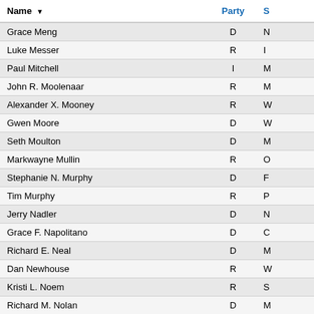| Name | Party | S |
| --- | --- | --- |
| Grace Meng | D | N |
| Luke Messer | R | I |
| Paul Mitchell | I | M |
| John R. Moolenaar | R | M |
| Alexander X. Mooney | R | W |
| Gwen Moore | D | W |
| Seth Moulton | D | M |
| Markwayne Mullin | R | O |
| Stephanie N. Murphy | D | F |
| Tim Murphy | R | P |
| Jerry Nadler | D | N |
| Grace F. Napolitano | D | C |
| Richard E. Neal | D | M |
| Dan Newhouse | R | W |
| Kristi L. Noem | R | S |
| Richard M. Nolan | D | M |
| Donald Norcross | D | N |
| Eleanor Holmes Norton | D | D |
| Devin Nunes | R | C |
| Pete Olson | R | T |
| Tom O'Halleran | D | A |
| Beto O'Rourke | D | T |
| Steven M. Palazzo | R |  |